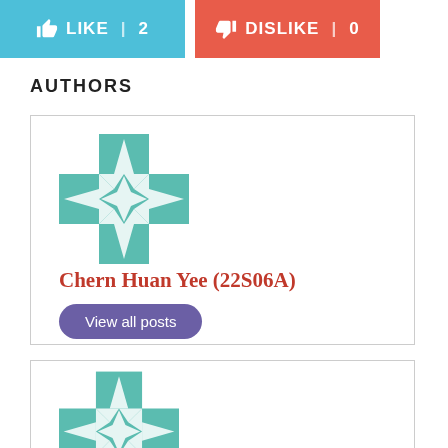[Figure (other): Like button (blue) with thumbs up icon, LIKE | 2]
[Figure (other): Dislike button (red) with thumbs down icon, DISLIKE | 0]
AUTHORS
[Figure (logo): Decorative teal geometric cross/star avatar icon for author Chern Huan Yee]
Chern Huan Yee (22S06A)
View all posts
[Figure (logo): Decorative teal geometric cross/star avatar icon for second author]
Clare Choi (23A01D)